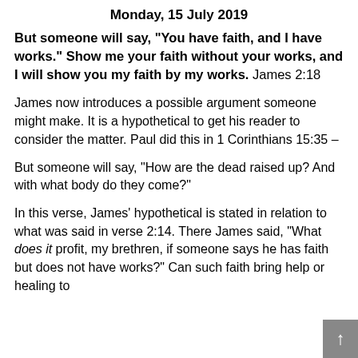Monday, 15 July 2019
But someone will say, “You have faith, and I have works.” Show me your faith without your works, and I will show you my faith by my works. James 2:18
James now introduces a possible argument someone might make. It is a hypothetical to get his reader to consider the matter. Paul did this in 1 Corinthians 15:35 –
But someone will say, “How are the dead raised up? And with what body do they come?”
In this verse, James’ hypothetical is stated in relation to what was said in verse 2:14. There James said, “What does it profit, my brethren, if someone says he has faith but does not have works?” Can such faith bring help or healing to